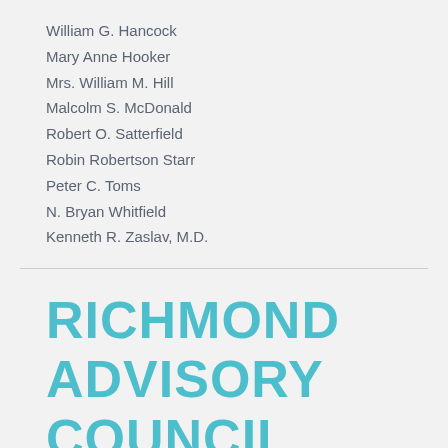William G. Hancock
Mary Anne Hooker
Mrs. William M. Hill
Malcolm S. McDonald
Robert O. Satterfield
Robin Robertson Starr
Peter C. Toms
N. Bryan Whitfield
Kenneth R. Zaslav, M.D.
RICHMOND ADVISORY COUNCIL